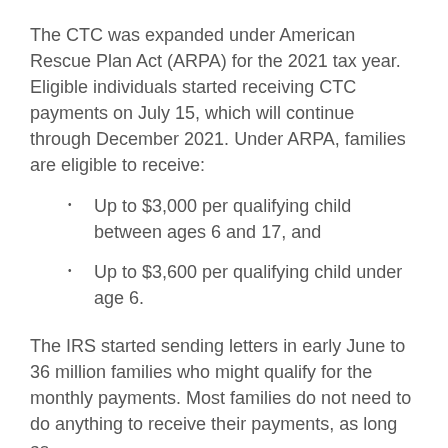The CTC was expanded under American Rescue Plan Act (ARPA) for the 2021 tax year. Eligible individuals started receiving CTC payments on July 15, which will continue through December 2021. Under ARPA, families are eligible to receive:
Up to $3,000 per qualifying child between ages 6 and 17, and
Up to $3,600 per qualifying child under age 6.
The IRS started sending letters in early June to 36 million families who might qualify for the monthly payments. Most families do not need to do anything to receive their payments, as long as